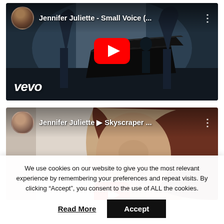[Figure (screenshot): YouTube thumbnail for 'Jennifer Juliette - Small Voice (...)' showing a grand piano scene with statues in a dark blue-toned room, with the YouTube play button overlaid and 'vevo' logo at bottom left. Channel avatar in top left corner.]
[Figure (screenshot): YouTube thumbnail for 'Jennifer Juliette ► Skyscraper ...' showing a close-up of a woman's face, partially visible, with YouTube play button partially visible at bottom. Channel avatar in top left corner.]
We use cookies on our website to give you the most relevant experience by remembering your preferences and repeat visits. By clicking "Accept", you consent to the use of ALL the cookies.
Read More
Accept